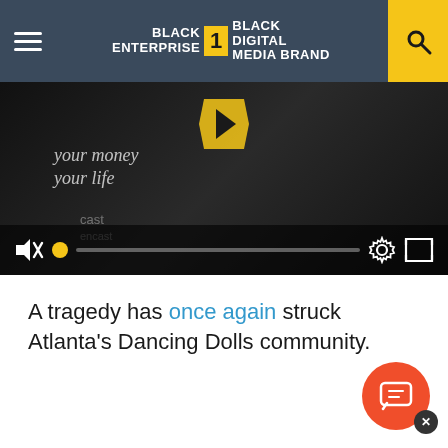BLACK ENTERPRISE THE #1 BLACK DIGITAL MEDIA BRAND
[Figure (screenshot): Embedded video player showing a dark background with 'your money your life' text overlay, video controls bar at bottom with mute button, progress bar with yellow dot, settings gear icon, and fullscreen icon]
A tragedy has once again struck Atlanta's Dancing Dolls community.